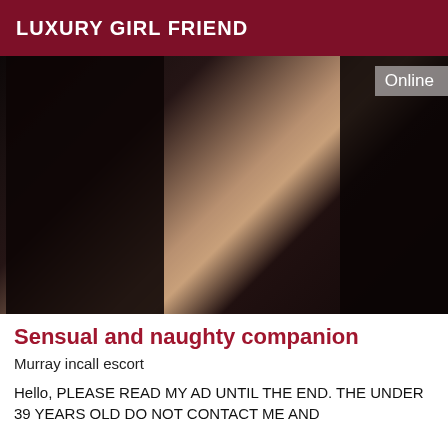LUXURY GIRL FRIEND
[Figure (photo): Close-up photo of a person wearing black lace lingerie, showing torso area with skin visible in center. 'Online' badge in top right corner.]
Sensual and naughty companion
Murray incall escort
Hello, PLEASE READ MY AD UNTIL THE END. THE UNDER 39 YEARS OLD DO NOT CONTACT ME AND